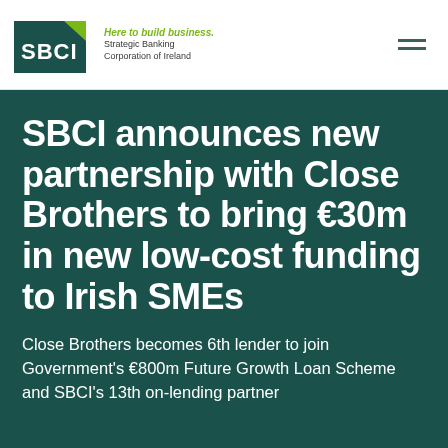[Figure (logo): SBCI logo with tagline 'Here to build business. Strategic Banking Corporation of Ireland']
SBCI announces new partnership with Close Brothers to bring €30m in new low-cost funding to Irish SMEs
Close Brothers becomes 6th lender to join Government's €800m Future Growth Loan Scheme and SBCI's 13th on-lending partner